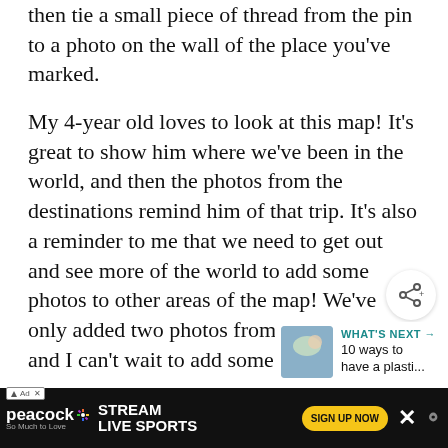then tie a small piece of thread from the pin to a photo on the wall of the place you've marked.
My 4-year old loves to look at this map! It's great to show him where we've been in the world, and then the photos from the destinations remind him of that trip. It's also a reminder to me that we need to get out and see more of the world to add some photos to other areas of the map! We've only added two photos from our trips so far, and I can't wait to add some more!
[Figure (infographic): Heart/like button icon (teal circle with heart) showing 515 likes, and a share button (white circle with share icon)]
[Figure (infographic): What's Next panel with thumbnail image and text: WHAT'S NEXT → 10 ways to have a plasti...]
[Figure (infographic): Peacock streaming advertisement banner: STREAM LIVE SPORTS, So Much to Love, SIGN UP NOW button, with close X button]